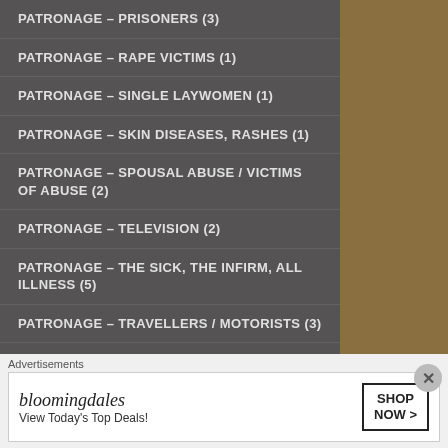PATRONAGE – PRISONERS (3)
PATRONAGE – RAPE VICTIMS (1)
PATRONAGE – SINGLE LAYWOMEN (1)
PATRONAGE – SKIN DISEASES, RASHES (1)
PATRONAGE – SPOUSAL ABUSE / VICTIMS OF ABUSE (2)
PATRONAGE – TELEVISION (2)
PATRONAGE – THE SICK, THE INFIRM, ALL ILLNESS (5)
PATRONAGE – TRAVELLERS / MOTORISTS (3)
PATRONAGE – UNEMPLOYED (2)
PATRONAGE – WIDOWS (2)
Advertisements
[Figure (other): Bloomingdales advertisement banner: 'bloomingdales – View Today's Top Deals!' with a woman in a hat and 'SHOP NOW >' button]